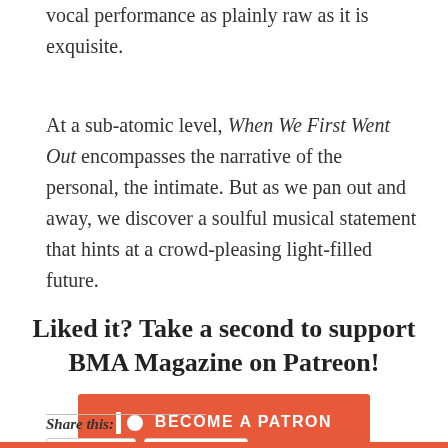vocal performance as plainly raw as it is exquisite.
At a sub-atomic level, When We First Went Out encompasses the narrative of the personal, the intimate. But as we pan out and away, we discover a soulful musical statement that hints at a crowd-pleasing light-filled future.
Liked it? Take a second to support BMA Magazine on Patreon!
[Figure (other): Patreon 'Become a Patron' button in orange/red with Patreon icon (bar and circle)]
Share this:
Twitter  Facebook